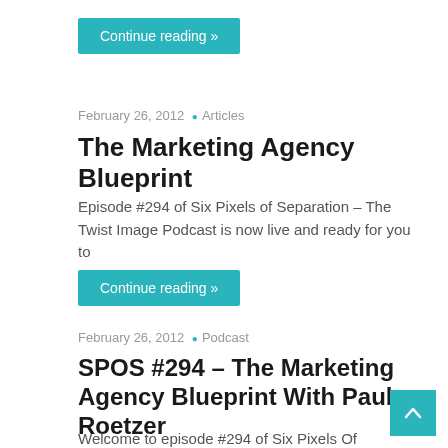Continue reading »
February 26, 2012 • Articles
The Marketing Agency Blueprint
Episode #294 of Six Pixels of Separation – The Twist Image Podcast is now live and ready for you to
Continue reading »
February 26, 2012 • Podcast
SPOS #294 – The Marketing Agency Blueprint With Paul Roetzer
Welcome to episode #294 of Six Pixels Of